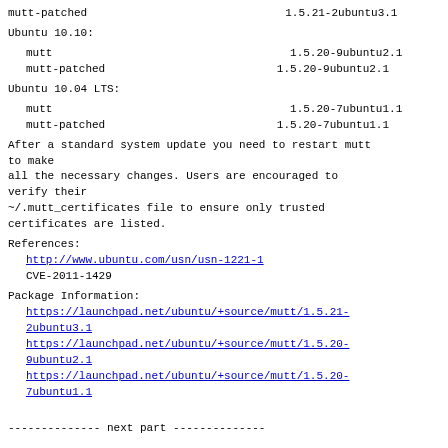mutt-patched                              1.5.21-2ubuntu3.1
Ubuntu 10.10:
mutt                                    1.5.20-9ubuntu2.1
  mutt-patched                          1.5.20-9ubuntu2.1
Ubuntu 10.04 LTS:
mutt                                    1.5.20-7ubuntu1.1
  mutt-patched                          1.5.20-7ubuntu1.1
After a standard system update you need to restart mutt to make all the necessary changes. Users are encouraged to verify their ~/.mutt_certificates file to ensure only trusted certificates are listed.
References:
  http://www.ubuntu.com/usn/usn-1221-1
  CVE-2011-1429
Package Information:
  https://launchpad.net/ubuntu/+source/mutt/1.5.21-2ubuntu3.1
  https://launchpad.net/ubuntu/+source/mutt/1.5.20-9ubuntu2.1
  https://launchpad.net/ubuntu/+source/mutt/1.5.20-7ubuntu1.1
-------------- next part --------------